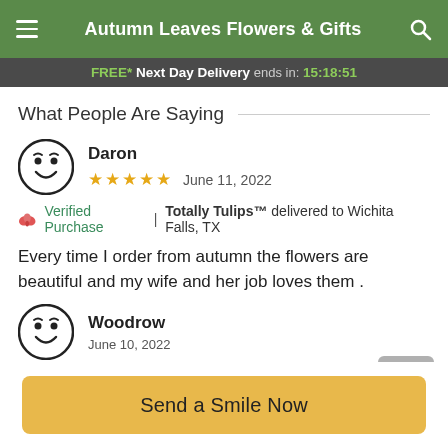Autumn Leaves Flowers & Gifts
FREE* Next Day Delivery ends in: 15:18:51
What People Are Saying
Daron
★★★★★  June 11, 2022
🌹 Verified Purchase  |  Totally Tulips™ delivered to Wichita Falls, TX
Every time I order from autumn the flowers are beautiful and my wife and her job loves them .
Woodrow